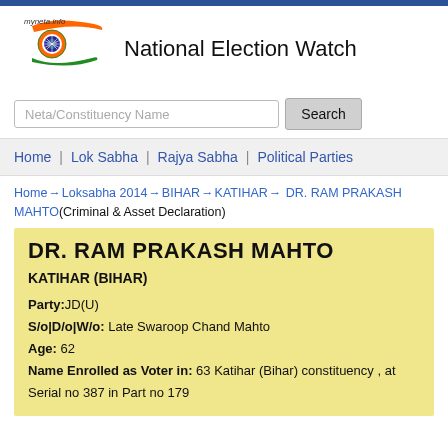[Figure (logo): myneta.info and National Election Watch logo with Indian flag motif]
Neta/Constituency Name  Search
Home  Lok Sabha  Rajya Sabha  Political Parties
Home → Loksabha 2014 → BIHAR → KATIHAR → DR. RAM PRAKASH MAHTO(Criminal & Asset Declaration)
DR. RAM PRAKASH MAHTO
KATIHAR (BIHAR)
Party:JD(U)
S/o|D/o|W/o: Late Swaroop Chand Mahto
Age: 62
Name Enrolled as Voter in: 63 Katihar (Bihar) constituency , at Serial no 387 in Part no 179